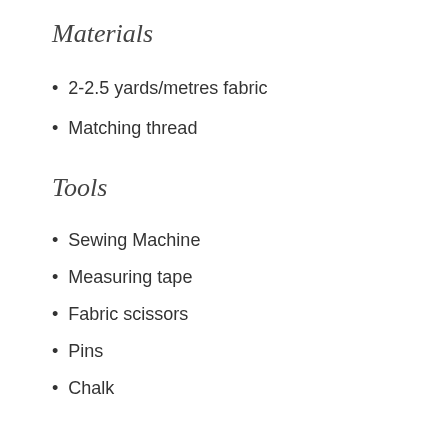Materials
2-2.5 yards/metres fabric
Matching thread
Tools
Sewing Machine
Measuring tape
Fabric scissors
Pins
Chalk
Instructions
Begin by measuring your waist and the widest part of your hips with your tailors tape. Have a notepad handy to jot these numbers down for the next steps.